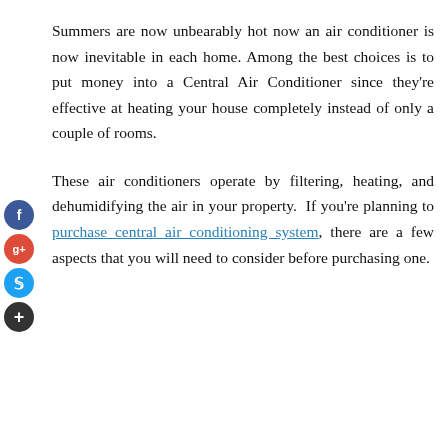Summers are now unbearably hot now an air conditioner is now inevitable in each home. Among the best choices is to put money into a Central Air Conditioner since they're effective at heating your house completely instead of only a couple of rooms.
[Figure (infographic): Social media sharing buttons: Facebook (blue circle with f), Google+ (red circle with g+), Twitter (light blue circle with bird icon), and a dark circle with plus sign]
These air conditioners operate by filtering, heating, and dehumidifying the air in your property. If you're planning to purchase central air conditioning system, there are a few aspects that you will need to consider before purchasing one.